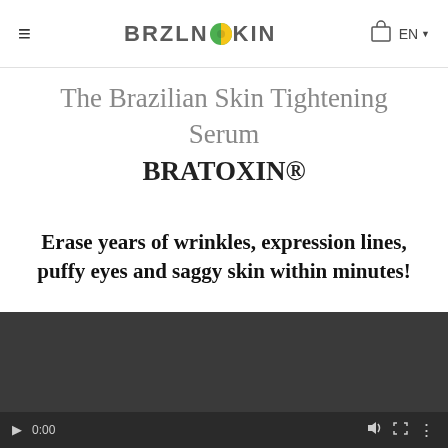≡  BRZLNSKIN  EN ▾
The Brazilian Skin Tightening Serum
BRATOXIN®
Erase years of wrinkles, expression lines, puffy eyes and saggy skin within minutes!
[Figure (screenshot): Dark video player area with playback controls at the bottom including a play button, 0:00 timestamp, volume icon, fullscreen icon, and more options icon.]